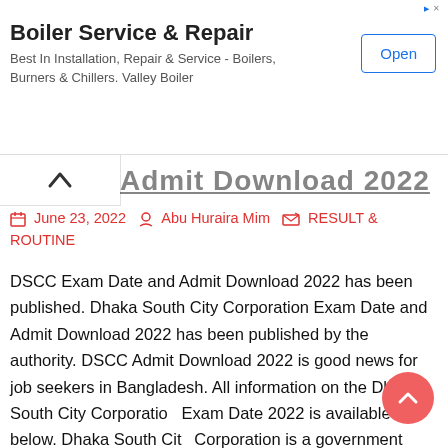[Figure (screenshot): Advertisement banner for Boiler Service & Repair. Title: 'Boiler Service & Repair'. Subtitle: 'Best In Installation, Repair & Service - Boilers, Burners & Chillers. Valley Boiler'. Button labeled 'Open'.]
Admit Download 2022
June 23, 2022  Abu Huraira Mim  RESULT & ROUTINE
DSCC Exam Date and Admit Download 2022 has been published. Dhaka South City Corporation Exam Date and Admit Download 2022 has been published by the authority. DSCC Admit Download 2022 is good news for job seekers in Bangladesh. All information on the Dhaka South City Corporation Exam Date 2022 is available below. Dhaka South City Corporation is a government organization in Bangladesh.